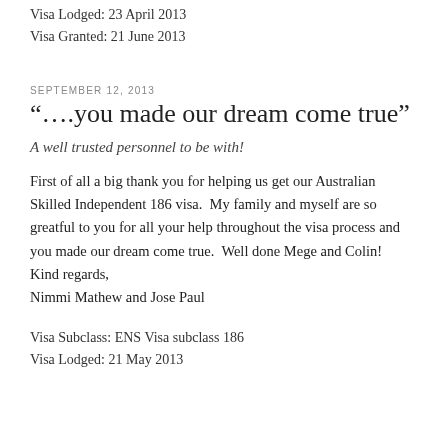Visa Lodged: 23 April 2013
Visa Granted: 21 June 2013
SEPTEMBER 12, 2013
“….you made our dream come true”
A well trusted personnel to be with!
First of all a big thank you for helping us get our Australian Skilled Independent 186 visa.  My family and myself are so greatful to you for all your help throughout the visa process and you made our dream come true.  Well done Mege and Colin!
Kind regards,
Nimmi Mathew and Jose Paul
Visa Subclass: ENS Visa subclass 186
Visa Lodged: 21 May 2013